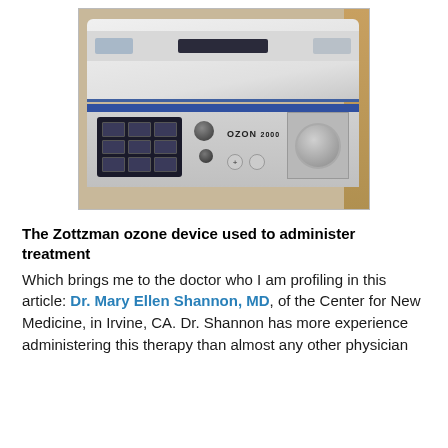[Figure (photo): Photo of the Zottzman OZON 2000 ozone therapy device — a white tabletop medical device with display screens, button grid, knobs, and 'OZON 2000' label on the front panel.]
The Zottzman ozone device used to administer treatment
Which brings me to the doctor who I am profiling in this article: Dr. Mary Ellen Shannon, MD, of the Center for New Medicine, in Irvine, CA. Dr. Shannon has more experience administering this therapy than almost any other physician